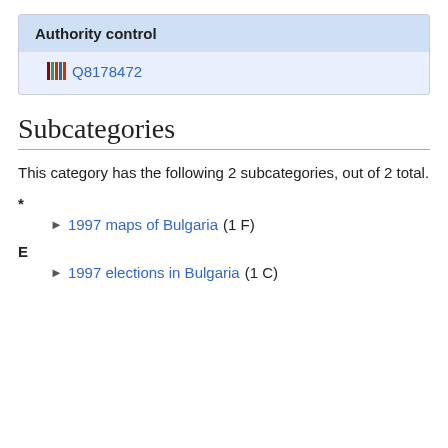Authority control
Q8178472
Subcategories
This category has the following 2 subcategories, out of 2 total.
* ► 1997 maps of Bulgaria (1 F)
E ► 1997 elections in Bulgaria (1 C)